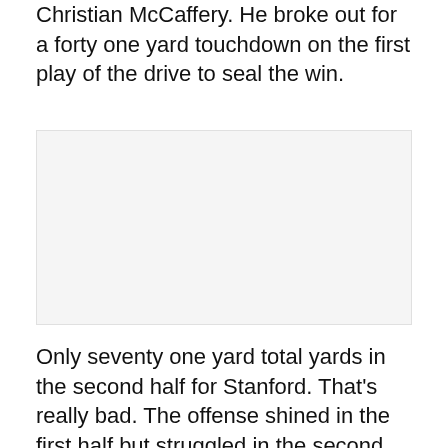Christian McCaffery. He broke out for a forty one yard touchdown on the first play of the drive to seal the win.
[Figure (photo): Placeholder image area, appears blank/light gray]
Only seventy one yard total yards in the second half for Stanford. That's really bad. The offense shined in the first half but struggled in the second. They'll have to